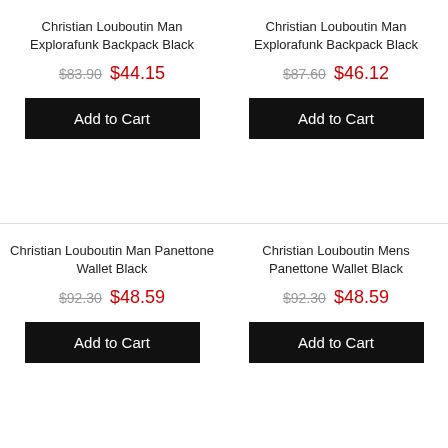Christian Louboutin Man Explorafunk Backpack Black
$83.90  $44.15
Christian Louboutin Man Explorafunk Backpack Black
$87.60  $46.12
Christian Louboutin Man Panettone Wallet Black
$92.30  $48.59
Christian Louboutin Mens Panettone Wallet Black
$92.30  $48.59